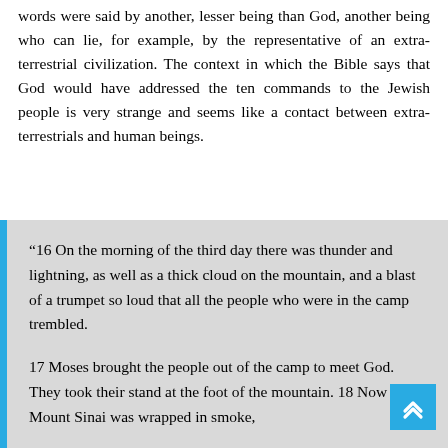words were said by another, lesser being than God, another being who can lie, for example, by the representative of an extra-terrestrial civilization. The context in which the Bible says that God would have addressed the ten commands to the Jewish people is very strange and seems like a contact between extra-terrestrials and human beings.
“16 On the morning of the third day there was thunder and lightning, as well as a thick cloud on the mountain, and a blast of a trumpet so loud that all the people who were in the camp trembled.

17 Moses brought the people out of the camp to meet God. They took their stand at the foot of the mountain. 18 Now Mount Sinai was wrapped in smoke,